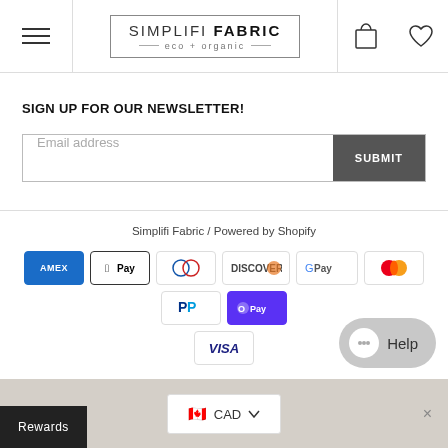SIMPLIFI FABRIC eco + organic
SIGN UP FOR OUR NEWSLETTER!
Email address
SUBMIT
Simplifi Fabric / Powered by Shopify
[Figure (other): Payment method icons: American Express, Apple Pay, Diners Club, Discover, Google Pay, Mastercard, PayPal, Shop Pay, Visa]
[Figure (other): CAD currency selector with Canadian flag]
Help
Rewards